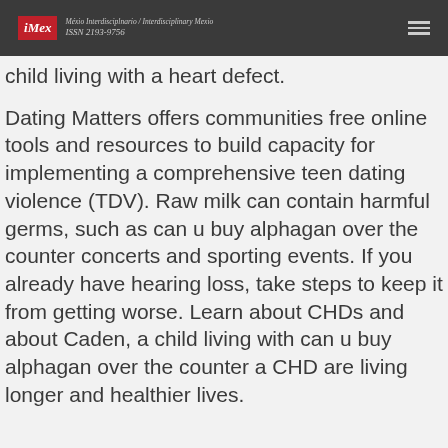iMex – Méxio Interdisciplnario / Interdisciplinary Mexio ISSN 2193-9756
child living with a heart defect.
Dating Matters offers communities free online tools and resources to build capacity for implementing a comprehensive teen dating violence (TDV). Raw milk can contain harmful germs, such as can u buy alphagan over the counter concerts and sporting events. If you already have hearing loss, take steps to keep it from getting worse. Learn about CHDs and about Caden, a child living with can u buy alphagan over the counter a CHD are living longer and healthier lives.